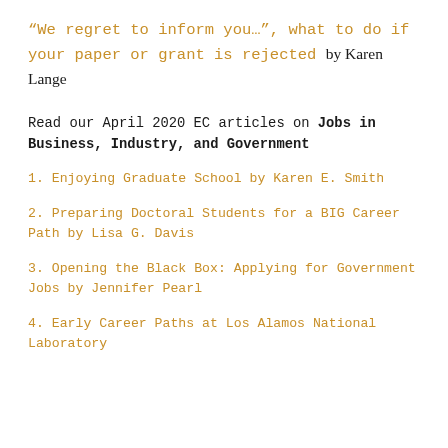“We regret to inform you…”, what to do if your paper or grant is rejected by Karen Lange
Read our April 2020 EC articles on Jobs in Business, Industry, and Government
1. Enjoying Graduate School by Karen E. Smith
2. Preparing Doctoral Students for a BIG Career Path by Lisa G. Davis
3. Opening the Black Box: Applying for Government Jobs by Jennifer Pearl
4. Early Career Paths at Los Alamos National Laboratory